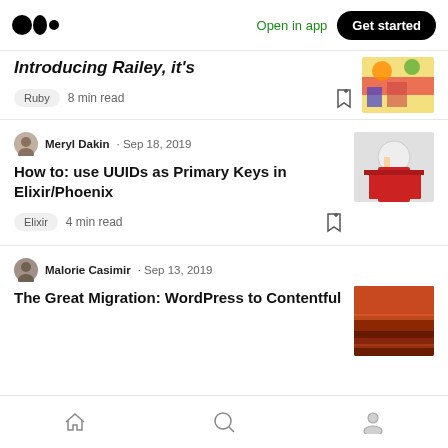Medium — Open in app | Get started
Introducing Railey, it's
Ruby · 8 min read
Meryl Dakin · Sep 18, 2019
How to: use UUIDs as Primary Keys in Elixir/Phoenix
Elixir · 4 min read
Malorie Casimir · Sep 13, 2019
The Great Migration: WordPress to Contentful
Home | Search | Profile